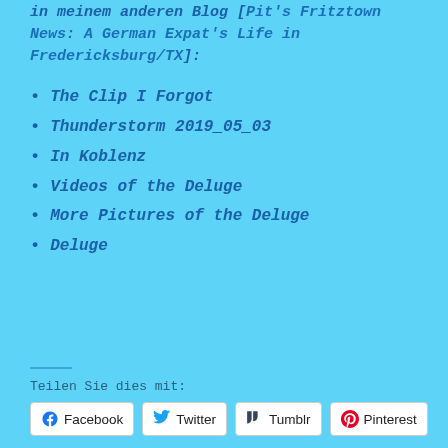in meinem anderen Blog [Pit's Fritztown News: A German Expat's Life in Fredericksburg/TX]:
The Clip I Forgot
Thunderstorm 2019_05_03
In Koblenz
Videos of the Deluge
More Pictures of the Deluge
Deluge
Teilen Sie dies mit:
Facebook  Twitter  Tumblr  Pinterest